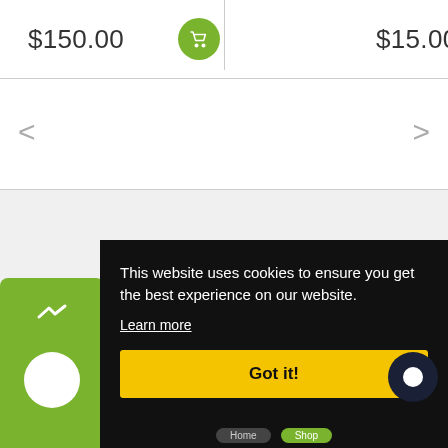$150.00
$15.00
This website uses cookies to ensure you get the best experience on our website.
Learn more
Got it!